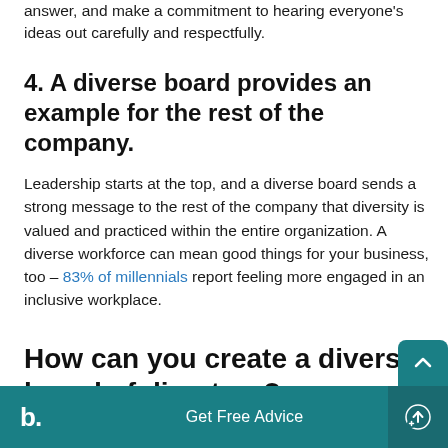answer, and make a commitment to hearing everyone's ideas out carefully and respectfully.
4. A diverse board provides an example for the rest of the company.
Leadership starts at the top, and a diverse board sends a strong message to the rest of the company that diversity is valued and practiced within the entire organization. A diverse workforce can mean good things for your business, too – 83% of millennials report feeling more engaged in an inclusive workplace.
How can you create a diverse board of directors?
b.  Get Free Advice